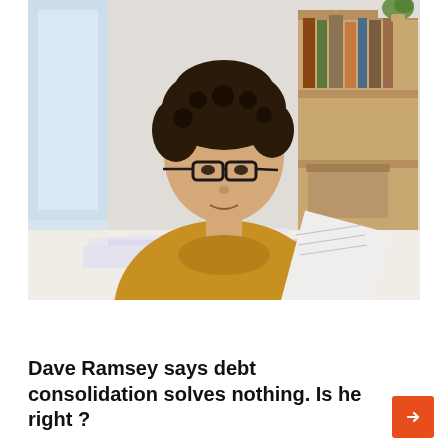[Figure (photo): Woman with curly dark hair and glasses wearing a yellow/mustard turtleneck sweater, sitting at a white desk looking at papers/documents. Blurred background with window light and a wooden bookshelf with books and a basket.]
Money managements
Dave Ramsey says debt consolidation solves nothing. Is he right ?